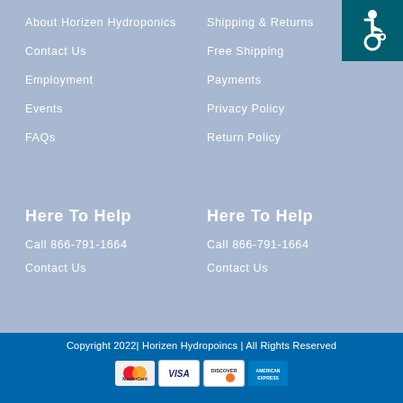About Horizen Hydroponics
Contact Us
Employment
Events
FAQs
Shipping & Returns
Free Shipping
Payments
Privacy Policy
Return Policy
[Figure (logo): Wheelchair accessibility icon on teal background]
Here To Help
Call 866-791-1664
Contact Us
Here To Help
Call 866-791-1664
Contact Us
Copyright 2022| Horizen Hydropoincs | All Rights Reserved
[Figure (other): Payment method icons: MasterCard, VISA, Discover, American Express]